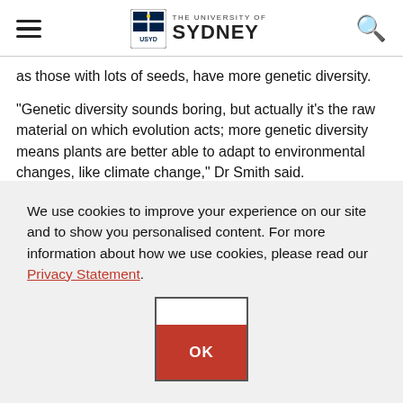The University of Sydney
as those with lots of seeds, have more genetic diversity.
“Genetic diversity sounds boring, but actually it’s the raw material on which evolution acts; more genetic diversity means plants are better able to adapt to environmental changes, like climate change,” Dr Smith said.
“We discovered that, in their native range, the environment determined their levels of genetic diversity. But, in new
We use cookies to improve your experience on our site and to show you personalised content. For more information about how we use cookies, please read our Privacy Statement.